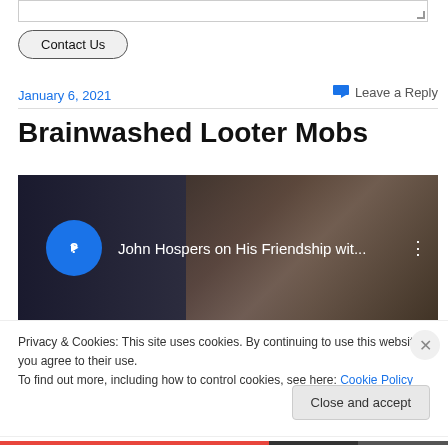[Figure (other): Text input area (textarea) with resize handle at bottom-right corner]
Contact Us
January 6, 2021
Leave a Reply
Brainwashed Looter Mobs
[Figure (screenshot): YouTube video thumbnail showing 'John Hospers on His Friendship wit...' with a blue play button circle and a person's face in background]
Privacy & Cookies: This site uses cookies. By continuing to use this website, you agree to their use.
To find out more, including how to control cookies, see here: Cookie Policy
Close and accept